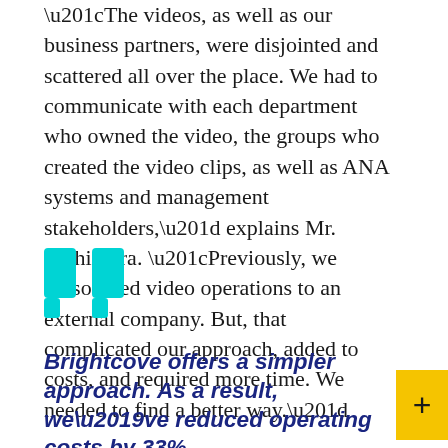“The videos, as well as our business partners, were disjointed and scattered all over the place. We had to communicate with each department who owned the video, the groups who created the video clips, as well as ANA systems and management stakeholders,” explains Mr. Nishimura. “Previously, we outsourced video operations to an external company. But, that complicated our approach, added to costs, and required more time. We needed to find a better way.”
[Figure (illustration): Large cyan/turquoise opening quotation mark decorative element]
Brightcove offers a simpler approach. As a result, we’ve reduced operating costs by 33%.